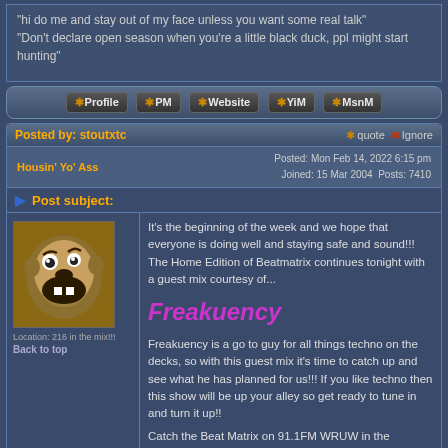"hi do me and stay out of my face unless you want some real talk" "Don't declare open season when you're a little black duck, ppl might start hunting"
Profile | PM | Website | YiM | MsnM
Posted by: stoutxtc | quote | Ignore
Housin' Yo' Ass | Posted: Mon Feb 14, 2022 6:15 pm | Joined: 15 Mar 2004  Posts: 7410
Post subject:
It's the beginning of the week and we hope that everyone is doing well and staying safe and sound!!! The Home Edition of Beatmatrix continues tonight with a guest mix courtesy of...
Freakuency
Freakuency is a go to guy for all things techno on the decks, so with this guest mix it's time to catch up and see what he has planned for us!!! If you like techno then this show will be up your alley so get ready to tune in and turn it up!!
Catch the Beat Matrix on 91.1FM WRUW in the Cleveland area Mondays from 9:00 PM thru